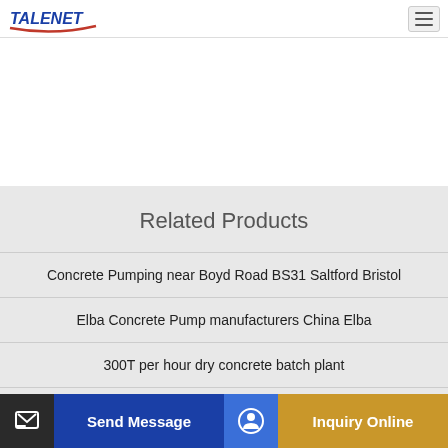TALENET
Related Products
Concrete Pumping near Boyd Road BS31 Saltford Bristol
Elba Concrete Pump manufacturers China Elba
300T per hour dry concrete batch plant
Customized new products concrete mixer pump accelerator Nigeria
Send Message | Inquiry Online